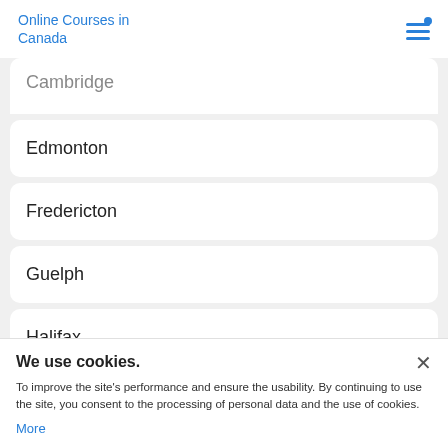Online Courses in Canada
Cambridge
Edmonton
Fredericton
Guelph
Halifax
We use cookies.
To improve the site's performance and ensure the usability. By continuing to use the site, you consent to the processing of personal data and the use of cookies.
More